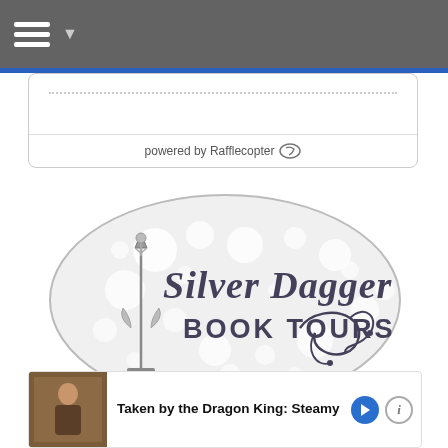Navigation bar with hamburger menu
[Figure (logo): Silver Dagger Book Tours oval logo with dagger illustration and script/block text on a sparkle background]
powered by Rafflecopter
Taken by the Dragon King: Steamy